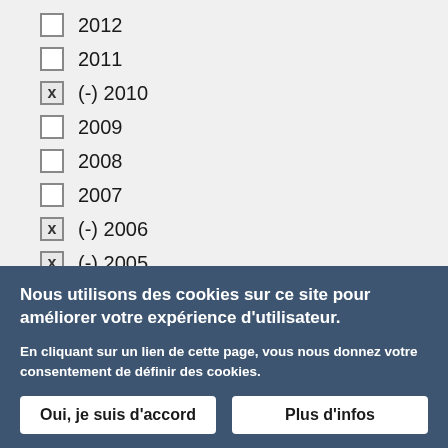2012
2011
(-) 2010
2009
2008
2007
(-) 2006
(-) 2005
2004
2003
2002
Nous utilisons des cookies sur ce site pour améliorer votre expérience d'utilisateur.
En cliquant sur un lien de cette page, vous nous donnez votre consentement de définir des cookies.
Oui, je suis d'accord
Plus d'infos